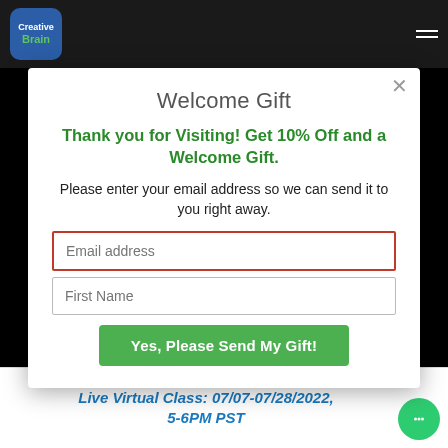[Figure (logo): Creative Brain logo in blue rounded square with green 'Brain' text]
Welcome Gift
Thank you for Visiting! Get 10% Off and a Welcome Gift.
Please enter your email address so we can send it to you right away.
Email address
First Name
Yes, Please Send My Gift!
Live Virtual Class: 07/07-07/28/2022, 5-6PM PST